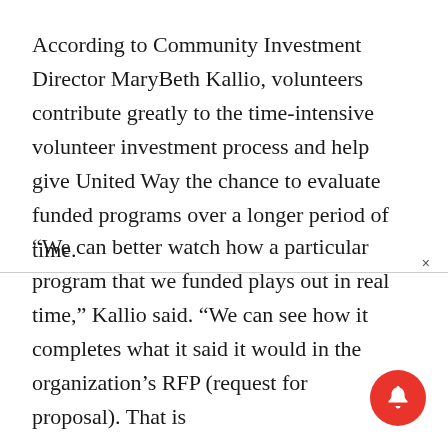According to Community Investment Director MaryBeth Kallio, volunteers contribute greatly to the time-intensive volunteer investment process and help give United Way the chance to evaluate funded programs over a longer period of time.
“We can better watch how a particular program that we funded plays out in real time,” Kallio said. “We can see how it completes what it said it would in the organization’s RFP (request for proposal). That is
[Figure (illustration): Red circular notification bell button in the bottom-right corner of the page]